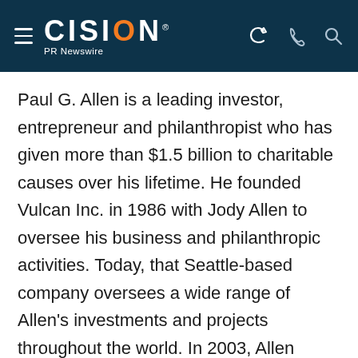CISION PR Newswire
Paul G. Allen is a leading investor, entrepreneur and philanthropist who has given more than $1.5 billion to charitable causes over his lifetime. He founded Vulcan Inc. in 1986 with Jody Allen to oversee his business and philanthropic activities. Today, that Seattle-based company oversees a wide range of Allen's investments and projects throughout the world. In 2003, Allen created the Allen Institute for Brain Science to accelerate understanding of the human brain in health and disease. The nonprofit pursues unprecedented large-scale research initiatives that result in knowledge, data and tools intended to fuel discovery throughout the broader scientific community. Allen also has a focus